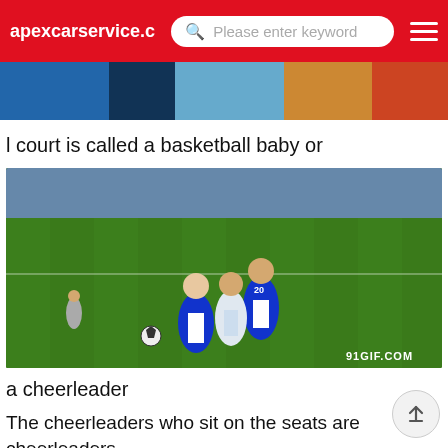apexcarservice.c  Please enter keyword
[Figure (photo): Top banner strip showing a basketball court/crowd scene]
l court is called a basketball baby or
[Figure (photo): Soccer match on green field, players in blue and white jerseys competing for the ball, large stadium crowd in background, watermark 91GIF.COM]
a cheerleader
The cheerleaders who sit on the seats are cheerleaders. They wave their hands when they score a goal, and then they dance with basketball babies
Is the salary of football baby and basketball baby high
These basketball babies or football babies can be seen on